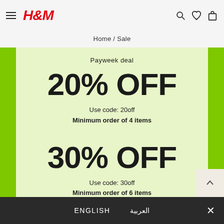H&M — Home / Sale
Payweek deal
20% OFF
Use code: 20off
Minimum order of 4 items
30% OFF
Use code: 30off
Minimum order of 6 items
14h : 28m : 47s
ENGLISH | العربية